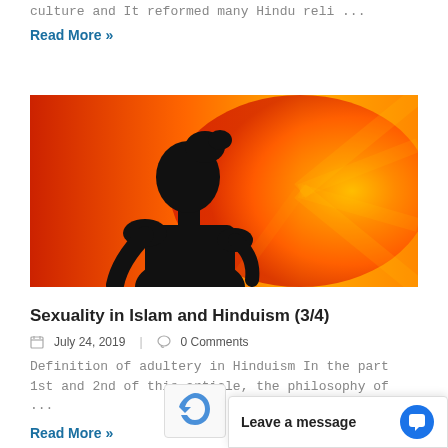culture and It reformed many Hindu reli ...
Read More »
[Figure (photo): Silhouette of a person against an orange and red sunset background]
Sexuality in Islam and Hinduism (3/4)
July 24, 2019   0 Comments
Definition of adultery in Hinduism  In the part 1st and 2nd of this article, the philosophy of ...
Read More »
Leave a message